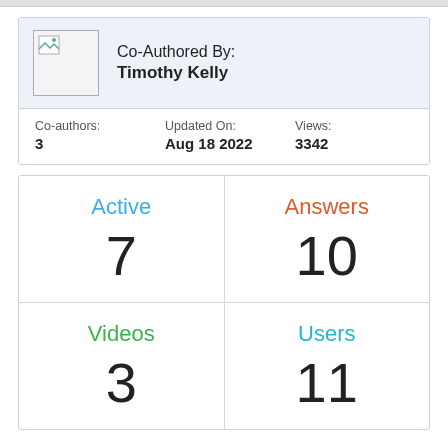| Co-Authored By: Timothy Kelly |
| Co-authors: 3 | Updated On: Aug 18 2022 | Views: 3342 |
| Active | Answers |
| --- | --- |
| 7 | 10 |
| Videos | Users |
| 3 | 11 |